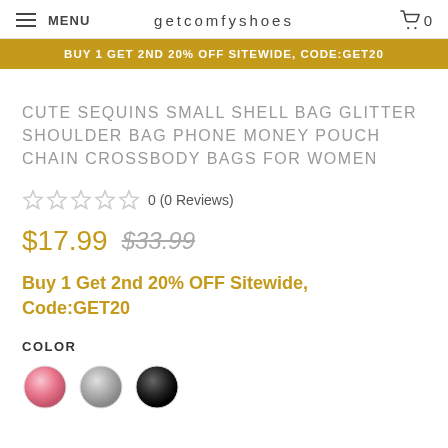MENU | getcomfyshoes | 0
BUY 1 GET 2ND 20% OFF SITEWIDE, CODE:GET20
CUTE SEQUINS SMALL SHELL BAG GLITTER SHOULDER BAG PHONE MONEY POUCH CHAIN CROSSBODY BAGS FOR WOMEN
0 (0 Reviews)
$17.99 $33.99
Buy 1 Get 2nd 20% OFF Sitewide, Code:GET20
COLOR